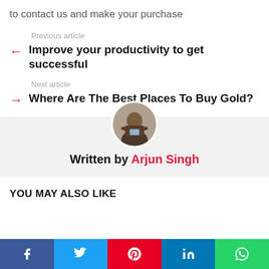to contact us and make your purchase
Previous article
Improve your productivity to get successful
Next article
Where Are The Best Places To Buy Gold?
[Figure (photo): Circular profile photo of Arjun Singh]
Written by Arjun Singh
YOU MAY ALSO LIKE
[Figure (infographic): Social media share bar with Facebook, Twitter, Pinterest, LinkedIn, WhatsApp buttons]